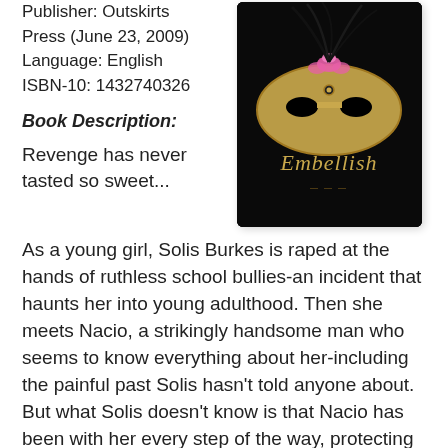Publisher: Outskirts Press (June 23, 2009)
Language: English
ISBN-10: 1432740326
[Figure (illustration): Book cover for 'Embellish' — a dark background with a gold masquerade mask adorned with pink feathers and black feathers, with ornate text reading 'Embellish' in gold script at the bottom.]
Book Description:
Revenge has never tasted so sweet...
As a young girl, Solis Burkes is raped at the hands of ruthless school bullies-an incident that haunts her into young adulthood. Then she meets Nacio, a strikingly handsome man who seems to know everything about her-including the painful past Solis hasn't told anyone about. But what Solis doesn't know is that Nacio has been with her every step of the way, protecting her ever since that fateful episode.
It's a destiny he's been working up to for the last 257 years.Now, as Solis enters a dark world of vampires, voodoo, and passion, she'll need all the protection she can get. Help doesn't always come easy, especially for Solis...